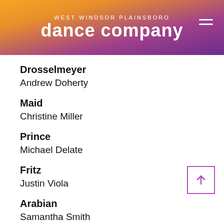WEST WINDSOR PLAINSBORO dance company
Drosselmeyer
Andrew Doherty
Maid
Christine Miller
Prince
Michael Delate
Fritz
Justin Viola
Arabian
Samantha Smith
(Contemporary - Sunday w/Miss Tammy)
Chinese Tea